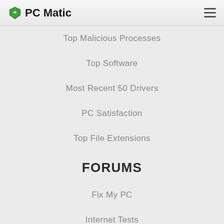PC Matic
Top Malicious Processes
Top Software
Most Recent 50 Drivers
PC Satisfaction
Top File Extensions
FORUMS
Fix My PC
Internet Tests
Viruses & Spyware
Tech Talk
Tips 'n' Tricks
Site Feedback